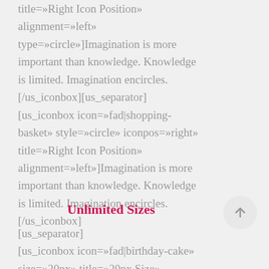title=»Right Icon Position» alignment=»left» type=»circle»]Imagination is more important than knowledge. Knowledge is limited. Imagination encircles. [/us_iconbox][us_separator] [us_iconbox icon=»fad|shopping-basket» style=»circle» iconpos=»right» title=»Right Icon Position» alignment=»left»]Imagination is more important than knowledge. Knowledge is limited. Imagination encircles. [/us_iconbox]
Unlimited Sizes
[us_separator] [us_iconbox icon=»fad|birthday-cake» size=»20px» title=»20px Size»